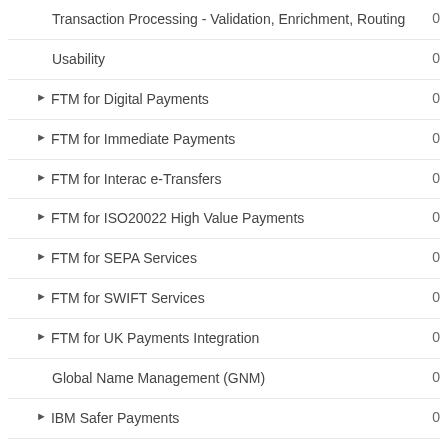Transaction Processing - Validation, Enrichment, Routing	0
Usability	0
▶ FTM for Digital Payments	0
▶ FTM for Immediate Payments	0
▶ FTM for Interac e-Transfers	0
▶ FTM for ISO20022 High Value Payments	0
▶ FTM for SEPA Services	0
▶ FTM for SWIFT Services	0
▶ FTM for UK Payments Integration	0
Global Name Management (GNM)	0
▶ IBM Safer Payments	0
Identity Insight	0
Information Server - Data Quality	0